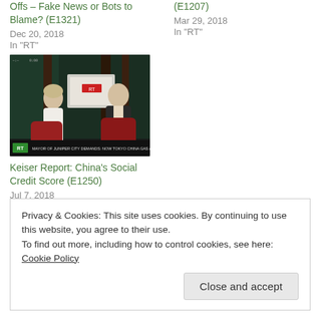Offs – Fake News or Bots to Blame? (E1321)
Dec 20, 2018
In "RT"
(E1207)
Mar 29, 2018
In "RT"
[Figure (photo): TV studio interview scene: two people seated, one in white jacket gesturing, the other in dark vest, RT news ticker at bottom]
Keiser Report: China's Social Credit Score (E1250)
Jul 7, 2018
In "RT"
Privacy & Cookies: This site uses cookies. By continuing to use this website, you agree to their use.
To find out more, including how to control cookies, see here: Cookie Policy
Close and accept